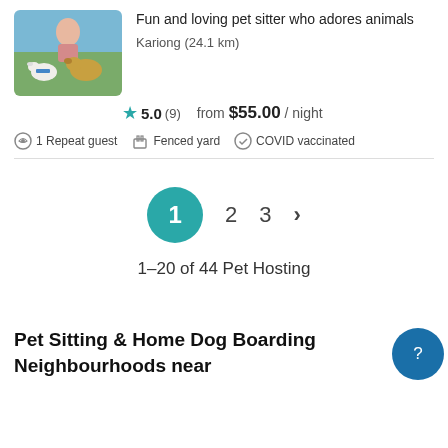[Figure (photo): Photo of a person sitting outdoors with two dogs (a small white dog and a golden/brown dog), near water.]
Fun and loving pet sitter who adores animals
Kariong (24.1 km)
5.0 (9)
from $55.00 / night
1 Repeat guest   Fenced yard   COVID vaccinated
1  2  3  >
1–20 of 44 Pet Hosting
Pet Sitting & Home Dog Boarding Neighbourhoods near